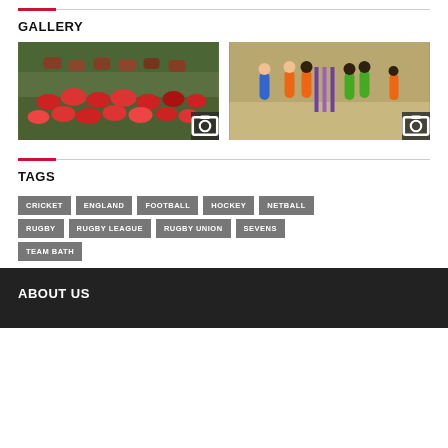GALLERY
[Figure (photo): Group photo of girls in red and white sports uniforms posing on a grass field]
[Figure (photo): Cricket match scene with players in orange and green uniforms on a cricket pitch]
TAGS
CRICKET
ENGLAND
FOOTBALL
HOCKEY
NETBALL
RUGBY
RUGBY LEAGUE
RUGBY UNION
SEVENS
TEAM BATH
ABOUT US